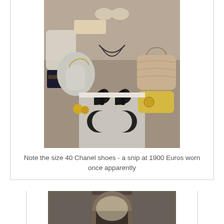[Figure (photo): A display of Chanel luxury items including black high-heel shoes prominently placed on a box with the Chanel double-C logo, surrounded by handbags (white, tan quilted, yellow), accessories, and shoes on shelves in the background.]
Note the size 40 Chanel shoes - a snip at 1900 Euros worn once apparently
[Figure (photo): A partially visible interior architectural photo showing an arched doorway or window.]